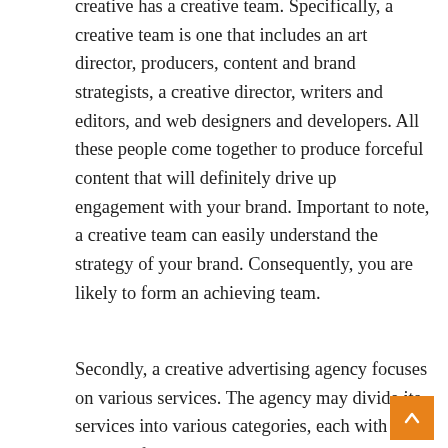creative has a creative team. Specifically, a creative team is one that includes an art director, producers, content and brand strategists, a creative director, writers and editors, and web designers and developers. All these people come together to produce forceful content that will definitely drive up engagement with your brand. Important to note, a creative team can easily understand the strategy of your brand. Consequently, you are likely to form an achieving team.
Secondly, a creative advertising agency focuses on various services. The agency may divide its services into various categories, each with a singular focus. For example, there could a design agency